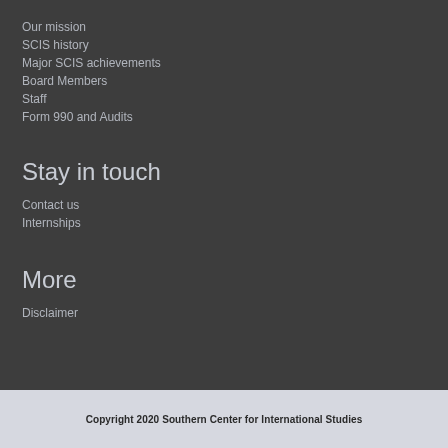Our mission
SCIS history
Major SCIS achievements
Board Members
Staff
Form 990 and Audits
Stay in touch
Contact us
Internships
More
Disclaimer
Copyright 2020 Southern Center for International Studies